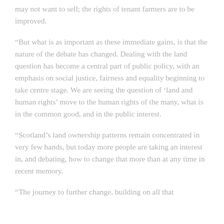may not want to sell; the rights of tenant farmers are to be improved.
“But what is as important as these immediate gains, is that the nature of the debate has changed. Dealing with the land question has become a central part of public policy, with an emphasis on social justice, fairness and equality beginning to take centre stage. We are seeing the question of ‘land and human rights’ move to the human rights of the many, what is in the common good, and in the public interest.
“Scotland’s land ownership patterns remain concentrated in very few hands, but today more people are taking an interest in, and debating, how to change that more than at any time in recent memory.
“The journey to further change, building on all that